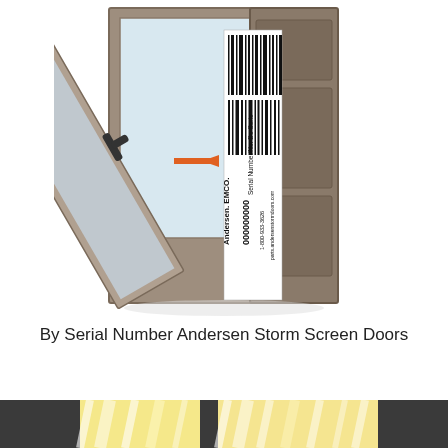[Figure (photo): An open storm screen door (Andersen EMCO) with the door panel partially open, revealing a label/barcode strip on the inner edge. An orange arrow points to the serial number label location. The label shows a barcode at top, text reading 'Serial Number/No. De Serie', and at the bottom: 'Andersen. EMCO.' '000000000' '1-800-933-3626' 'parts.andersenstormdoors.com']
By Serial Number Andersen Storm Screen Doors
[Figure (photo): Bottom partial image showing a window or door with bright light/sun shining through, creating yellow and white light patterns through what appears to be blinds or shades. Dark frame visible on left and right edges.]